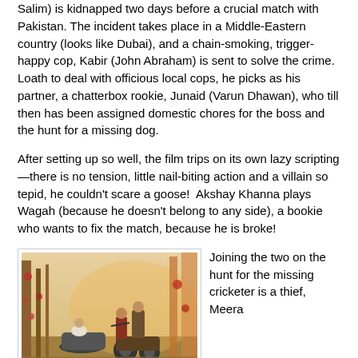Salim) is kidnapped two days before a crucial match with Pakistan. The incident takes place in a Middle-Eastern country (looks like Dubai), and a chain-smoking, trigger-happy cop, Kabir (John Abraham) is sent to solve the crime. Loath to deal with officious local cops, he picks as his partner, a chatterbox rookie, Junaid (Varun Dhawan), who till then has been assigned domestic chores for the boss and the hunt for a missing dog.
After setting up so well, the film trips on its own lazy scripting—there is no tension, little nail-biting action and a villain so tepid, he couldn't scare a goose!  Akshay Khanna plays Wagah (because he doesn't belong to any side), a bookie who wants to fix the match, because he is broke!
[Figure (photo): A movie still showing two men on a motorcycle with a sidecar, with a woman seated in the sidecar. The scene appears to be set in a dusty, warm-toned outdoor location.]
Joining the two on the hunt for the missing cricketer is a thief, Meera (Jacqueline Fernandez), for no reason but that she finds